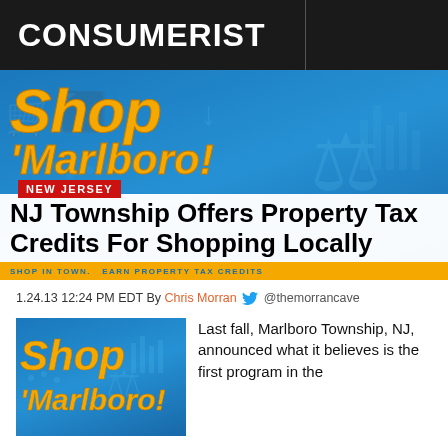CONSUMERIST
[Figure (photo): Hero image with 'Shop Marlboro!' logo on blue background with decorative icons, overlaid with 'NEW JERSEY' red label badge and article headline]
NJ Township Offers Property Tax Credits For Shopping Locally
1.24.13 12:24 PM EDT By Chris Morran @themorrancave
[Figure (photo): Thumbnail image showing 'Shop Marlboro!' logo on blue background]
Last fall, Marlboro Township, NJ, announced what it believes is the first program in the